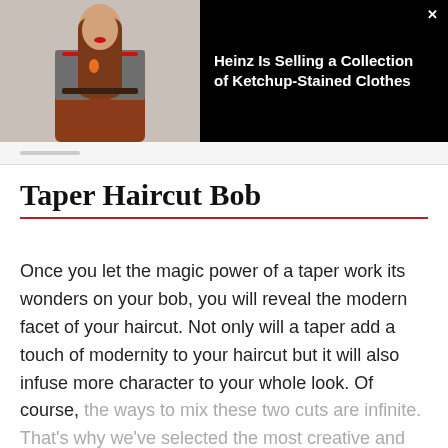[Figure (photo): Advertisement banner showing a woman in a grey blazer and rust-colored pants posing, on a black background with article headline text 'Heinz Is Selling a Collection of Ketchup-Stained Clothes' and a close button (×)]
Taper Haircut Bob
Once you let the magic power of a taper work its wonders on your bob, you will reveal the modern facet of your haircut. Not only will a taper add a touch of modernity to your haircut but it will also infuse more character to your whole look. Of course, the ways to mix these two cuts are infinite. That's why we've selected the most creative and impressive